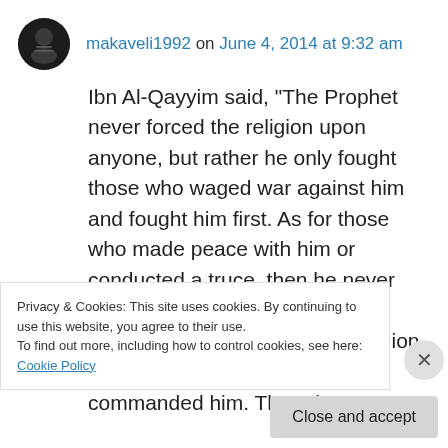makaveli1992 on June 4, 2014 at 9:32 am
Ibn Al-Qayyim said, “The Prophet never forced the religion upon anyone, but rather he only fought those who waged war against him and fought him first. As for those who made peace with him or conducted a truce, then he never fought them and he never compelled them to enter his religion, as his Lord the Almighty had commanded him. There is no compulsion in
Privacy & Cookies: This site uses cookies. By continuing to use this website, you agree to their use.
To find out more, including how to control cookies, see here: Cookie Policy
Close and accept